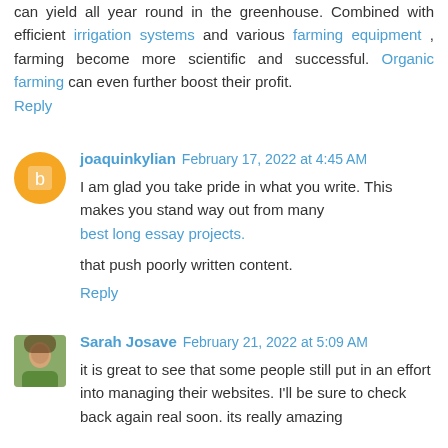can yield all year round in the greenhouse. Combined with efficient irrigation systems and various farming equipment , farming become more scientific and successful. Organic farming can even further boost their profit.
Reply
joaquinkylian  February 17, 2022 at 4:45 AM
I am glad you take pride in what you write. This makes you stand way out from many best long essay projects. that push poorly written content.
Reply
Sarah Josave  February 21, 2022 at 5:09 AM
it is great to see that some people still put in an effort into managing their websites. I'll be sure to check back again real soon. its really amazing